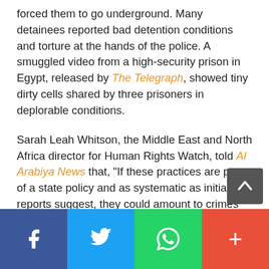forced them to go underground. Many detainees reported bad detention conditions and torture at the hands of the police. A smuggled video from a high-security prison in Egypt, released by The Telegraph, showed tiny dirty cells shared by three prisoners in deplorable conditions.
Sarah Leah Whitson, the Middle East and North Africa director for Human Rights Watch, told Al Arabiya News that, "If these practices are part of a state policy and as systematic as initial reports suggest, they could amount to crimes against humanity."
Following several terrorism attacks in various Egyptian cities, the Egyptian government moved on
[Figure (other): Dark grey scroll-to-top button with upward arrow icon, positioned bottom-right above the social share bar]
[Figure (other): Social share bar with four buttons: Facebook (blue), Twitter (light blue), WhatsApp (green), and a plus/more button (red-orange)]